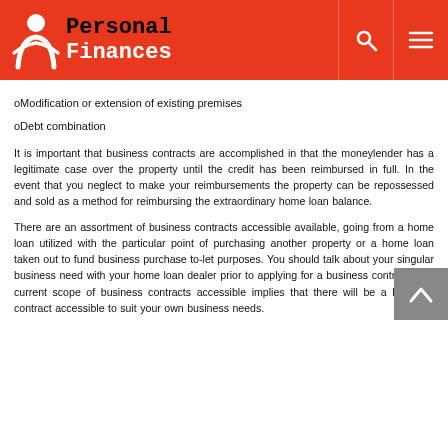Personal Finances
oModification or extension of existing premises
oDebt combination
It is important that business contracts are accomplished in that the moneylender has a legitimate case over the property until the credit has been reimbursed in full. In the event that you neglect to make your reimbursements the property can be repossessed and sold as a method for reimbursing the extraordinary home loan balance.
There are an assortment of business contracts accessible available, going from a home loan utilized with the particular point of purchasing another property or a home loan taken out to fund business purchase to-let purposes. You should talk about your singular business need with your home loan dealer prior to applying for a business contract. The current scope of business contracts accessible implies that there will be a business contract accessible to suit your own business needs.